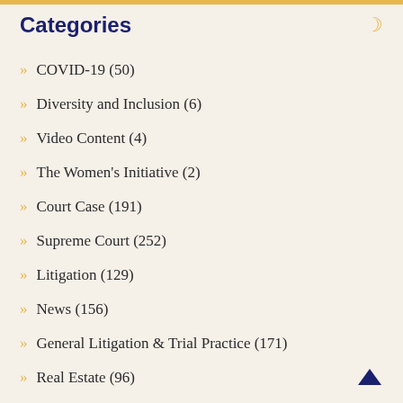Categories
» COVID-19 (50)
» Diversity and Inclusion (6)
» Video Content (4)
» The Women's Initiative (2)
» Court Case (191)
» Supreme Court (252)
» Litigation (129)
» News (156)
» General Litigation & Trial Practice (171)
» Real Estate (96)
» Tax Law (30)
» Business Law (30)